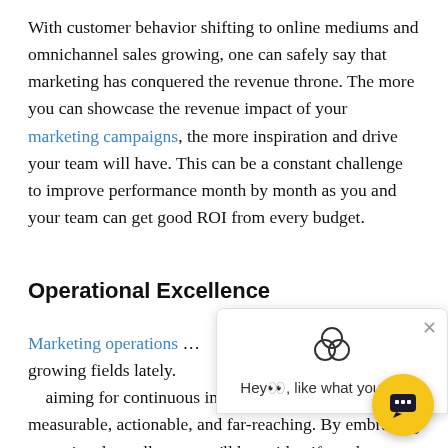With customer behavior shifting to online mediums and omnichannel sales growing, one can safely say that marketing has conquered the revenue throne. The more you can showcase the revenue impact of your marketing campaigns, the more inspiration and drive your team will have. This can be a constant challenge to improve performance month by month as you and your team can get good ROI from every budget.
Operational Excellence
Marketing operations … growing fields lately. … aiming for continuous improvement that is measurable, actionable, and far-reaching. By embracing operational excellence, you'll be … to identify and implement consistent processes
[Figure (other): Chat widget popup overlay showing a triquetra/three-circle icon, a close (×) button, and the message 'Hey👋, like what you read?' with a yellow circular chat button in the bottom-right corner]